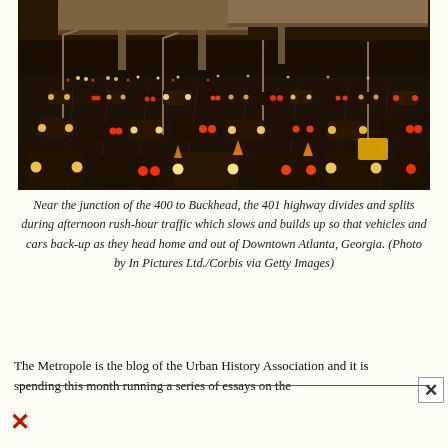[Figure (photo): Aerial view of heavy highway traffic near the junction of the 400 to Buckhead and the 401 highway in Downtown Atlanta, Georgia during afternoon rush-hour. Multiple lanes of cars and vehicles are backed up with headlights and taillights visible. An overpass structure is visible in the upper portion of the image.]
Near the junction of the 400 to Buckhead, the 401 highway divides and splits during afternoon rush-hour traffic which slows and builds up so that vehicles and cars back-up as they head home and out of Downtown Atlanta, Georgia. (Photo by In Pictures Ltd./Corbis via Getty Images)
The Metropole is the blog of the Urban History Association and it is spending this month running a series of essays on the